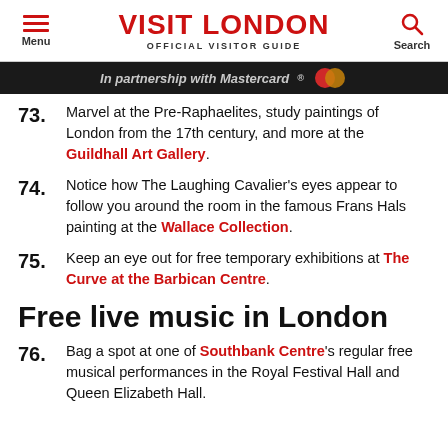VISIT LONDON — OFFICIAL VISITOR GUIDE
In partnership with Mastercard®
73. Marvel at the Pre-Raphaelites, study paintings of London from the 17th century, and more at the Guildhall Art Gallery.
74. Notice how The Laughing Cavalier's eyes appear to follow you around the room in the famous Frans Hals painting at the Wallace Collection.
75. Keep an eye out for free temporary exhibitions at The Curve at the Barbican Centre.
Free live music in London
76. Bag a spot at one of Southbank Centre's regular free musical performances in the Royal Festival Hall and Queen Elizabeth Hall.